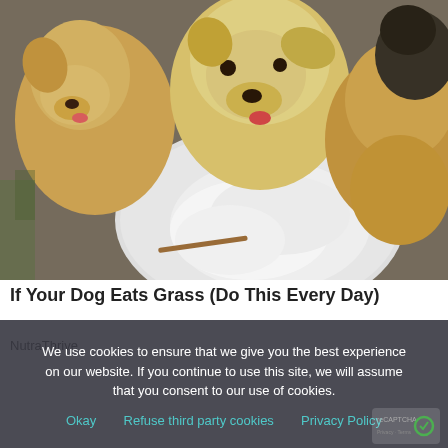[Figure (photo): Three puppies eating from a white plate filled with a white creamy substance, photographed outdoors on concrete]
If Your Dog Eats Grass (Do This Every Day)
NutraThrive
We use cookies to ensure that we give you the best experience on our website. If you continue to use this site, we will assume that you consent to our use of cookies.
Okay   Refuse third party cookies   Privacy Policy